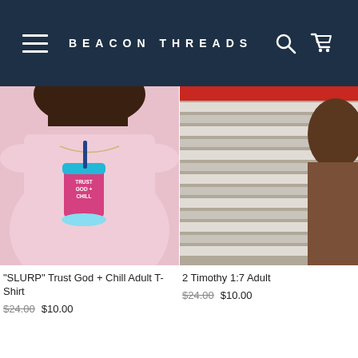BEACON THREADS
[Figure (photo): Woman wearing a pink t-shirt with 'Trust God + Chill' graphic cup design]
"SLURP" Trust God + Chill Adult T-Shirt
$24.00  $10.00
[Figure (photo): Partial view of a person near metal ribbed wall/shelving, product cut off on right]
2 Timothy 1:7 Adult
$24.00  $10.00